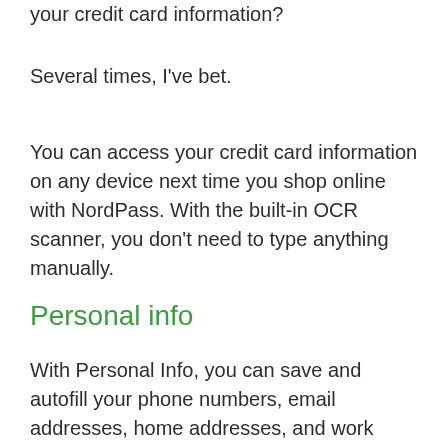your credit card information?
Several times, I've bet.
You can access your credit card information on any device next time you shop online with NordPass. With the built-in OCR scanner, you don't need to type anything manually.
Personal info
With Personal Info, you can save and autofill your phone numbers, email addresses, home addresses, and work